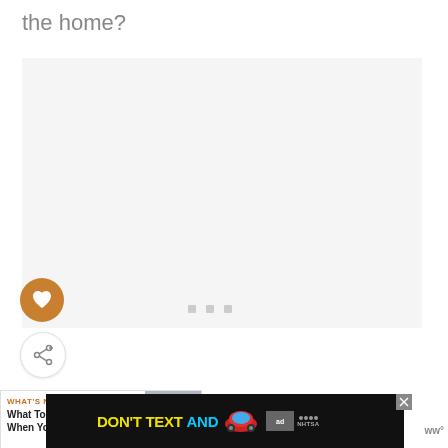the home?
[Figure (other): Large light gray content placeholder box]
[Figure (other): Circular orange/gold heart favorite button icon]
[Figure (other): Circular white share/add button icon]
[Figure (other): Three small gray square dots (image loading indicator)]
[Figure (other): WHAT'S NEXT promotional card with baby photo thumbnail. Text: 'WHAT'S NEXT → What To Do When Your...']
[Figure (other): Advertisement banner: DON'T TEXT AND [car emoji] with ad/NHTSA badge. Close X button shown.]